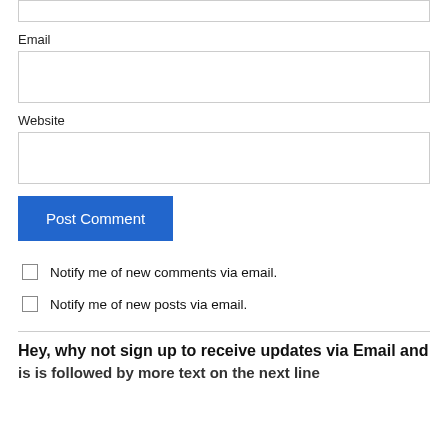Email
Website
Post Comment
Notify me of new comments via email.
Notify me of new posts via email.
Hey, why not sign up to receive updates via Email and is is followed by more text on the next line